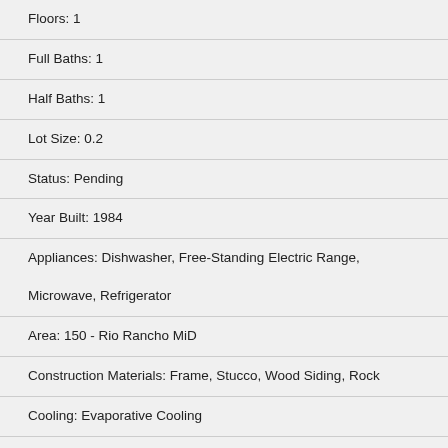Floors: 1
Full Baths: 1
Half Baths: 1
Lot Size: 0.2
Status: Pending
Year Built: 1984
Appliances: Dishwasher, Free-Standing Electric Range, Microwave, Refrigerator
Area: 150 - Rio Rancho MiD
Construction Materials: Frame, Stucco, Wood Siding, Rock
Cooling: Evaporative Cooling
Exterior Features: Frame, Private Yard